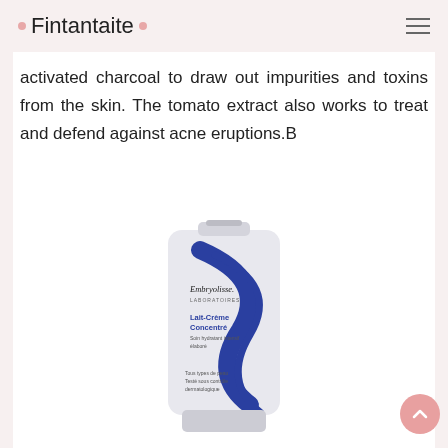· Fintantaite ·
activated charcoal to draw out impurities and toxins from the skin. The tomato extract also works to treat and defend against acne eruptions.B
[Figure (photo): A tube of Embryolisse Lait-Crème Concentré moisturizing cream on a white background. The tube is white with blue decorative swirl design and blue text. Labeled 'Embryolisse. LABORATOIRES', 'Lait-Crème Concentré', 'Tous types de peau', 'Testé sous contrôle dermatologique'.]